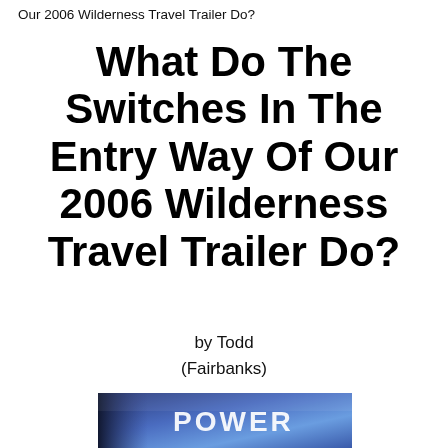Our 2006 Wilderness Travel Trailer Do?
What Do The Switches In The Entry Way Of Our 2006 Wilderness Travel Trailer Do?
by Todd
(Fairbanks)
[Figure (photo): Close-up photo of a blue power button/switch with the word POWER written on it in white letters]